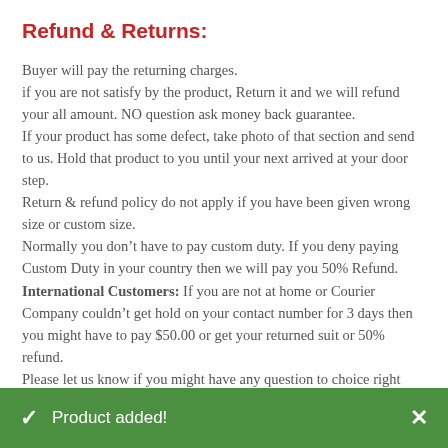Refund & Returns:
Buyer will pay the returning charges.
if you are not satisfy by the product, Return it and we will refund your all amount. NO question ask money back guarantee.
If your product has some defect, take photo of that section and send to us. Hold that product to you until your next arrived at your door step.
Return & refund policy do not apply if you have been given wrong size or custom size.
Normally you don’t have to pay custom duty. If you deny paying Custom Duty in your country then we will pay you 50% Refund.
International Customers: If you are not at home or Courier Company couldn’t get hold on your contact number for 3 days then you might have to pay $50.00 or get your returned suit or 50% refund.
Please let us know if you might have any question to choice right
Product added!